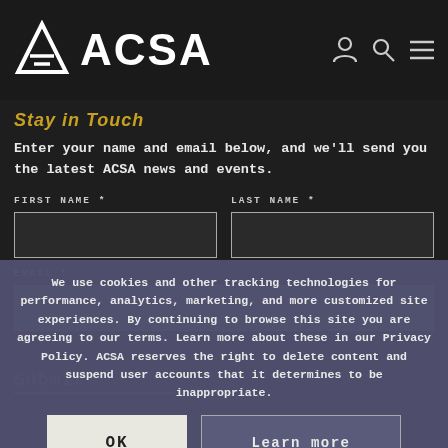[Figure (logo): ACSA logo with triangular geometric icon and bold white ACSA text, plus user/search/menu icons in top right]
Stay in Touch
Enter your name and email below, and we'll send you the latest ACSA news and events.
FIRST NAME *
LAST NAME *
EMAIL *
We use cookies and other tracking technologies for performance, analytics, marketing, and more customized site experiences. By continuing to browse this site you are agreeing to our terms. Learn more about these in our Privacy Policy. ACSA reserves the right to delete content and suspend user accounts that it determines to be inappropriate.
OK
Learn more
Submit